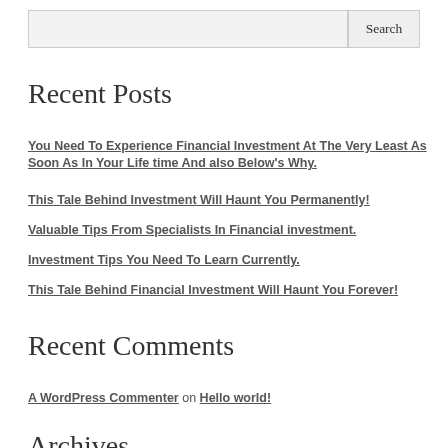Recent Posts
You Need To Experience Financial Investment At The Very Least As Soon As In Your Life time And also Below’s Why.
This Tale Behind Investment Will Haunt You Permanently!
Valuable Tips From Specialists In Financial investment.
Investment Tips You Need To Learn Currently.
This Tale Behind Financial Investment Will Haunt You Forever!
Recent Comments
A WordPress Commenter on Hello world!
Archives